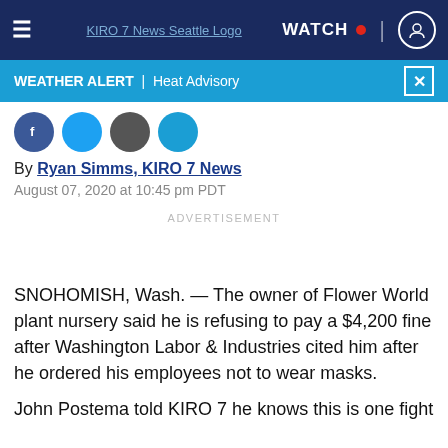≡ KIRO 7 News Seattle Logo | WATCH • [user icon]
WEATHER ALERT | Heat Advisory
[Figure (screenshot): Partial social sharing icons (Facebook, Twitter, email, and one more) cropped at top]
By Ryan Simms, KIRO 7 News
August 07, 2020 at 10:45 pm PDT
ADVERTISEMENT
SNOHOMISH, Wash. — The owner of Flower World plant nursery said he is refusing to pay a $4,200 fine after Washington Labor & Industries cited him after he ordered his employees not to wear masks.
John Postema told KIRO 7 he knows this is one fight